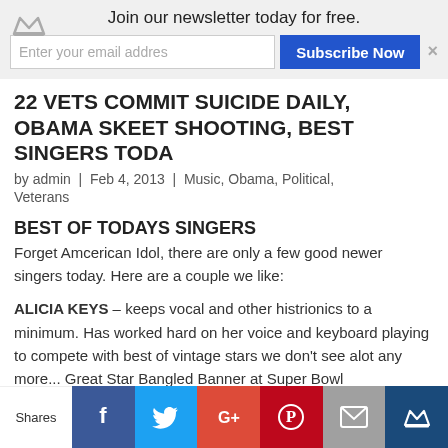Join our newsletter today for free.
22 VETS COMMIT SUICIDE DAILY, OBAMA SKEET SHOOTING, BEST SINGERS TODA
by admin | Feb 4, 2013 | Music, Obama, Political, Veterans
BEST OF TODAYS SINGERS
Forget Amcerican Idol, there are only a few good newer singers today. Here are a couple we like:
ALICIA KEYS – keeps vocal and other histrionics to a minimum. Has worked hard on her voice and keyboard playing to compete with best of vintage stars we don't see alot any more... Great Star Bangled Banner at Super Bowl
JENNIFER HUDSON – Shades of Aretha. Ditto lighter
Shares